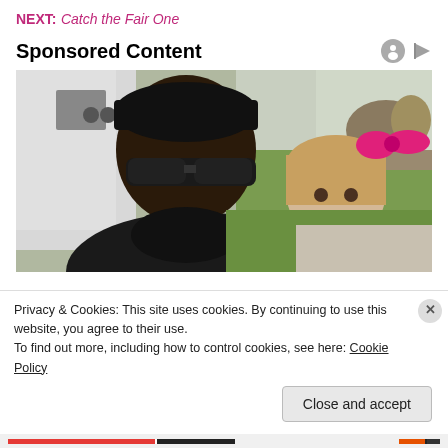NEXT: Catch the Fair One
Sponsored Content
[Figure (photo): A man wearing a black cap and sunglasses smiling broadly next to a young girl with a pink bow in her hair. Outdoor setting with grass and trees in background.]
Privacy & Cookies: This site uses cookies. By continuing to use this website, you agree to their use.
To find out more, including how to control cookies, see here: Cookie Policy
Close and accept